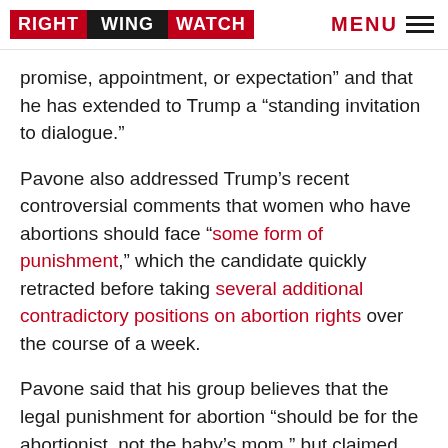RIGHT WING WATCH | MENU
promise, appointment, or expectation” and that he has extended to Trump a “standing invitation to dialogue.”
Pavone also addressed Trump’s recent controversial comments that women who have abortions should face “some form of punishment,” which the candidate quickly retracted before taking several additional contradictory positions on abortion rights over the course of a week.
Pavone said that his group believes that the legal punishment for abortion “should be for the abortionist, not the baby’s mom,” but claimed that women who “have had abortions are already in